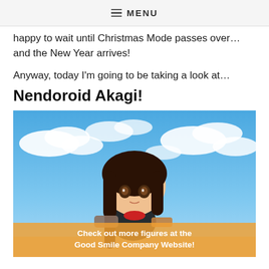MENU
happy to wait until Christmas Mode passes over… and the New Year arrives!
Anyway, today I'm going to be taking a look at…
Nendoroid Akagi!
[Figure (photo): A Nendoroid figure of Akagi from Kantai Collection, depicted as a chibi-style anime figurine with long dark hair, brown eyes, holding equipment, posed against a blue sky with clouds background.]
Check out more figures at the Good Smile Company Website!